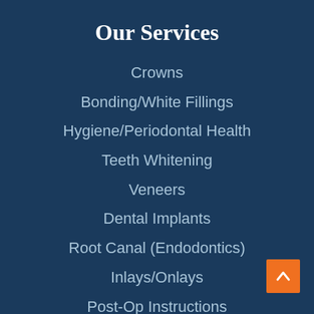Our Services
Crowns
Bonding/White Fillings
Hygiene/Periodontal Health
Teeth Whitening
Veneers
Dental Implants
Root Canal (Endodontics)
Inlays/Onlays
Post-Op Instructions